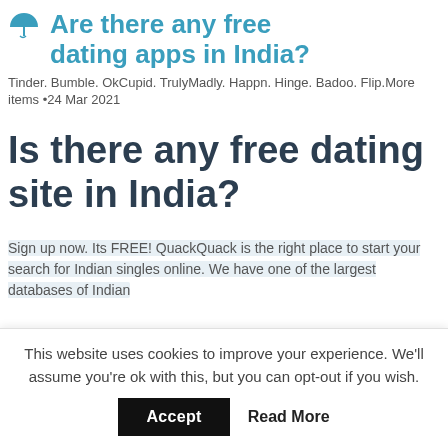Are there any free dating apps in India?
Tinder. Bumble. OkCupid. TrulyMadly. Happn. Hinge. Badoo. Flip.More items •24 Mar 2021
Is there any free dating site in India?
Sign up now. Its FREE! QuackQuack is the right place to start your search for Indian singles online. We have one of the largest databases of Indian
This website uses cookies to improve your experience. We'll assume you're ok with this, but you can opt-out if you wish.
Accept  Read More